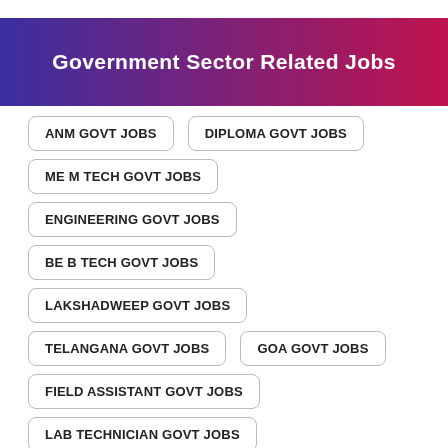Government Sector Related Jobs
ANM GOVT JOBS
DIPLOMA GOVT JOBS
ME M TECH GOVT JOBS
ENGINEERING GOVT JOBS
BE B TECH GOVT JOBS
LAKSHADWEEP GOVT JOBS
TELANGANA GOVT JOBS
GOA GOVT JOBS
FIELD ASSISTANT GOVT JOBS
LAB TECHNICIAN GOVT JOBS